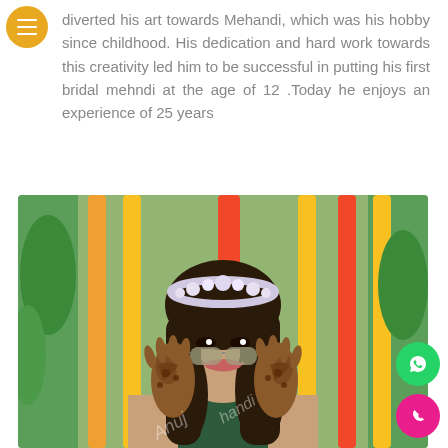diverted his art towards Mehandi, which was his hobby since childhood. His dedication and hard work towards this creativity led him to be successful in putting his first bridal mehndi at the age of 12 .Today he enjoys an experience of 25 years
[Figure (photo): A bride smiling and holding sunglasses with both hands decorated with intricate mehndi/henna designs, wearing a floral crown, with marigold flower decorations in the background. A watermark 'Anuj...handi' is visible on the image.]